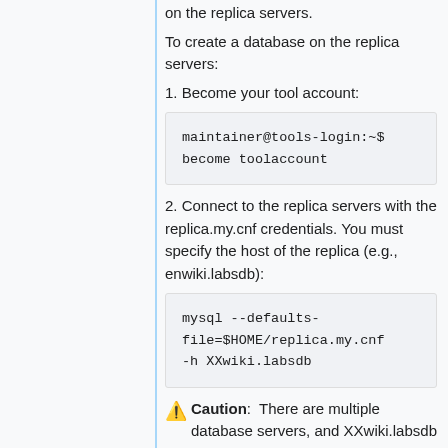on the replica servers.
To create a database on the replica servers:
1. Become your tool account:
maintainer@tools-login:~$ become toolaccount
2. Connect to the replica servers with the replica.my.cnf credentials. You must specify the host of the replica (e.g., enwiki.labsdb):
mysql --defaults-file=$HOME/replica.my.cnf -h XXwiki.labsdb
⚠ Caution: There are multiple database servers, and XXwiki.labsdb ...